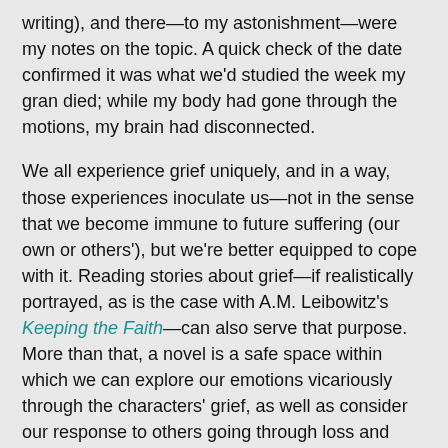writing), and there—to my astonishment—were my notes on the topic. A quick check of the date confirmed it was what we'd studied the week my gran died; while my body had gone through the motions, my brain had disconnected.
We all experience grief uniquely, and in a way, those experiences inoculate us—not in the sense that we become immune to future suffering (our own or others'), but we're better equipped to cope with it. Reading stories about grief—if realistically portrayed, as is the case with A.M. Leibowitz's Keeping the Faith—can also serve that purpose. More than that, a novel is a safe space within which we can explore our emotions vicariously through the characters' grief, as well as consider our response to others going through loss and grief. There is no right or wrong way to grieve, and reading about those different experiences has the potential to enhance both our understanding and empathy.
I realise this doesn't read much like a review. It's when I get